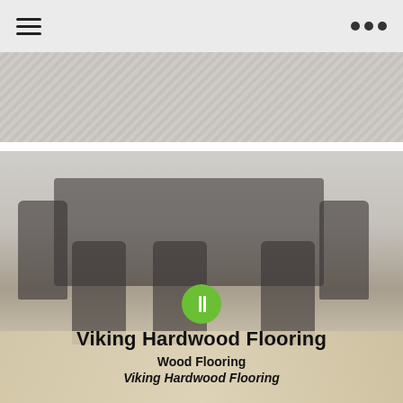[Figure (photo): Partial top image showing a light gray herringbone or textured flooring/wall surface]
[Figure (photo): Interior dining room scene with a dark dining table and chairs on light hardwood flooring, with a green circular info/play button overlay in the center]
Viking Hardwood Flooring
Wood Flooring
Viking Hardwood Flooring